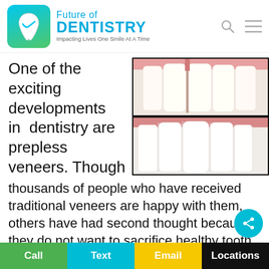Future of DENTISTRY — Impacting Lives One Smile At A Time
One of the exciting developments in dentistry are prepless veneers. Though thousands of people who have received traditional veneers are happy with them, others have had second thought because they do not want to sacrifice healthy tooth structure. With prepless veneers from Future of Dentistry, that
[Figure (photo): Before and after comparison of teeth: top panel shows teeth with gap/imperfections, bottom panel shows perfectly aligned white teeth after veneers]
Call | Text | Email | Locations